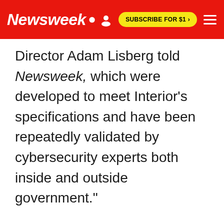Newsweek | SUBSCRIBE FOR $1 >
Director Adam Lisberg told Newsweek, which were developed to meet Interior's specifications and have been repeatedly validated by cybersecurity experts both inside and outside government."